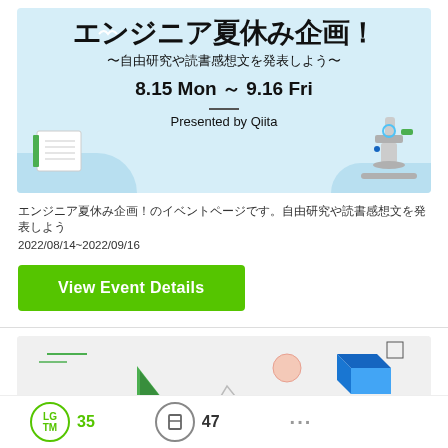[Figure (illustration): Banner image with light blue background showing Japanese text 'エンジニア夏休み企画！' (Engineer Summer Holiday Plan!), subtitle '～自由研究や読書感想文を発表しよう～', date '8.15 Mon ～ 9.16 Fri', a horizontal line, 'Presented by Qiita' text, with decorative notebook, microscope, and bird illustrations.]
エンジニア夏休み企画！のイベントページです。自由研究や読書感想文を発表しよう
2022/08/14~2022/09/16
View Event Details
[Figure (illustration): Partial banner with light gray background showing geometric shapes: green triangle/arrow, small circle outline, pink circle, blue 3D cube, and partial text at bottom.]